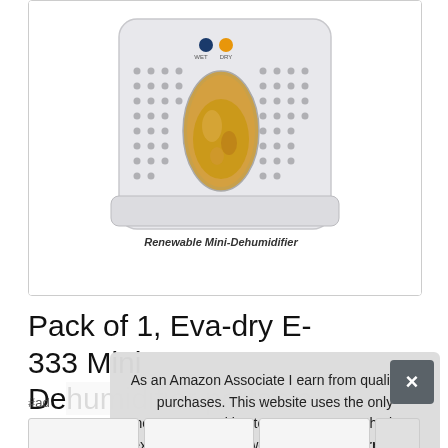[Figure (photo): Renewable Mini-Dehumidifier product photo showing a white rectangular device with dot-pattern ventilation holes, an oval moisture indicator window showing orange/amber beads, and WET/DRY indicator dots at the top. Text on device reads 'Renewable Mini-Dehumidifier'.]
Pack of 1, Eva-dry E-333 Mini De...
#ad
As an Amazon Associate I earn from qualifying purchases. This website uses the only necessary cookies to ensure you get the best experience on our website. More information